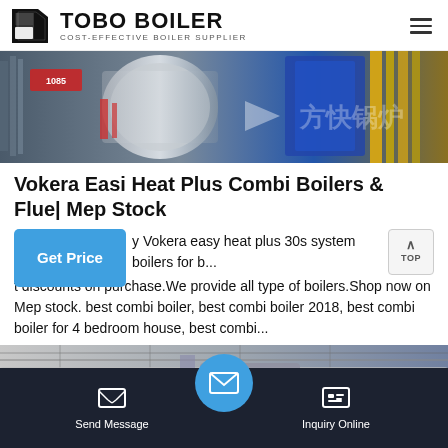TOBO BOILER — COST-EFFECTIVE BOILER SUPPLIER
[Figure (photo): Industrial boilers in a factory setting with Chinese text watermark '方快锅炉']
Vokera Easi Heat Plus Combi Boilers & Flue| Mep Stock
y Vokera easy heat plus 30s system boilers for b... t discounts on purchase.We provide all type of boilers.Shop now on Mep stock. best combi boiler, best combi boiler 2018, best combi boiler for 4 bedroom house, best combi...
[Figure (photo): Industrial boiler manufacturing facility interior with pipes and equipment]
Send Message | Inquiry Online